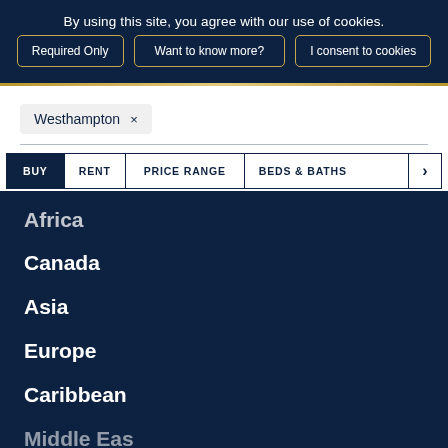By using this site, you agree with our use of cookies.
Required Only
Want to know more?
I consent to cookies
Westhampton ×
BUY  RENT  PRICE RANGE  BEDS & BATHS  >
Africa
Canada
Asia
Europe
Caribbean
Middle East